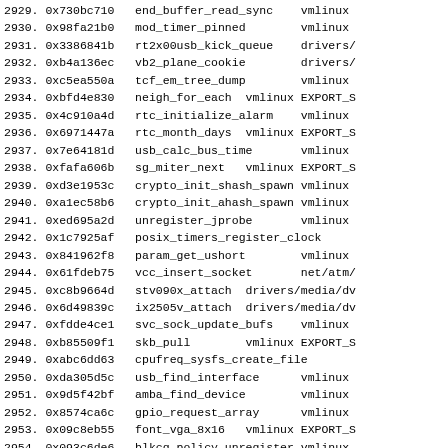2929. 0x730bc710   end_buffer_read_sync    vmlinux
2930. 0x98fa21b0   mod_timer_pinned       vmlinux
2931. 0x3386841b   rt2x00usb_kick_queue   drivers/
2932. 0xb4a136ec   vb2_plane_cookie       drivers/
2933. 0xc5ea550a   tcf_em_tree_dump       vmlinux
2934. 0xbfd4e830   neigh_for_each  vmlinux EXPORT_S
2935. 0x4c910a4d   rtc_initialize_alarm   vmlinux
2936. 0x6971447a   rtc_month_days  vmlinux EXPORT_S
2937. 0x7e64181d   usb_calc_bus_time      vmlinux
2938. 0xfafa606b   sg_miter_next   vmlinux EXPORT_S
2939. 0xd3e1953c   crypto_init_shash_spawn vmlinux
2940. 0xa1ec58b6   crypto_init_ahash_spawn vmlinux
2941. 0xed695a2d   unregister_jprobe      vmlinux
2942. 0x1c7925af   posix_timers_register_clock
2943. 0x841962f8   param_get_ushort       vmlinux
2944. 0x61fdeb75   vcc_insert_socket      net/atm/
2945. 0xc8b9664d   stv090x_attach  drivers/media/dv
2946. 0x6d49839c   ix2505v_attach  drivers/media/dv
2947. 0xfdde4ce1   svc_sock_update_bufs   vmlinux
2948. 0xb85509f1   skb_pull        vmlinux EXPORT_S
2949. 0xabc6dd63   cpufreq_sysfs_create_file
2950. 0xda305d5c   usb_find_interface     vmlinux
2951. 0x9d5f42bf   amba_find_device       vmlinux
2952. 0x8574ca6c   gpio_request_array     vmlinux
2953. 0x09c8eb55   font_vga_8x16   vmlinux EXPORT_S
2954. 0x093c6de6   blkcg_policy_unregister vmlinux
2955. 0x34f1da29   phy_start_interrupts   drivers/
2956. 0x3a07c5f1   vb2_fop_poll    drivers/media/v4
2957. 0xe1ac2bb8   sunrpc_net_id   vmlinux EXPORT_S